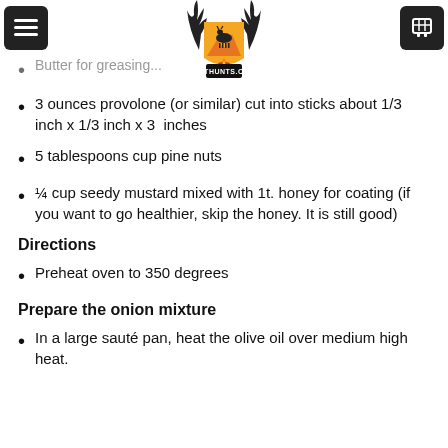GOTHUNTS.COM
Butter for greasing...
3 ounces provolone (or similar) cut into sticks about 1/3 inch x 1/3 inch x 3 inches
5 tablespoons cup pine nuts
¼ cup seedy mustard mixed with 1t. honey for coating (if you want to go healthier, skip the honey. It is still good)
Directions
Preheat oven to 350 degrees
Prepare the onion mixture
In a large sauté pan, heat the olive oil over medium high heat.